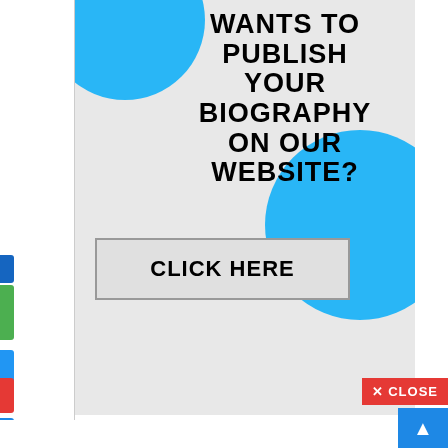[Figure (infographic): Advertisement panel with gray background, blue circle decorations, bold black text reading 'WANTS TO PUBLISH YOUR BIOGRAPHY ON OUR WEBSITE?' and a 'CLICK HERE' button. Overlaid on a white page background with colored social share buttons on the left edge and a red CLOSE button and blue scroll-up button at bottom right.]